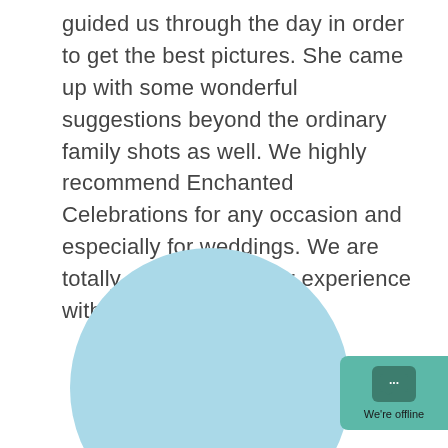guided us through the day in order to get the best pictures. She came up with some wonderful suggestions beyond the ordinary family shots as well. We highly recommend Enchanted Celebrations for any occasion and especially for weddings. We are totally satisfied with our experience with them and can't wait...
[Figure (logo): The Knot 'Best Of' award badge — a light blue circle containing the text 'the knot best of' in white italic script font]
[Figure (screenshot): A teal chat widget button in the bottom right corner showing a chat icon with ellipsis dots and the text 'We're offline']